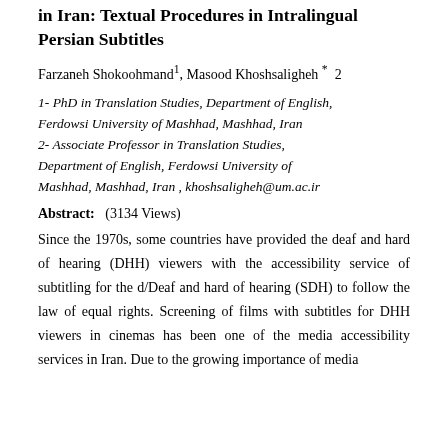in Iran: Textual Procedures in Intralingual Persian Subtitles
Farzaneh Shokoohmand1, Masood Khoshsaligheh * 2
1- PhD in Translation Studies, Department of English, Ferdowsi University of Mashhad, Mashhad, Iran
2- Associate Professor in Translation Studies, Department of English, Ferdowsi University of Mashhad, Mashhad, Iran , khoshsaligheh@um.ac.ir
Abstract: (3134 Views)
Since the 1970s, some countries have provided the deaf and hard of hearing (DHH) viewers with the accessibility service of subtitling for the d/Deaf and hard of hearing (SDH) to follow the law of equal rights. Screening of films with subtitles for DHH viewers in cinemas has been one of the media accessibility services in Iran. Due to the growing importance of media